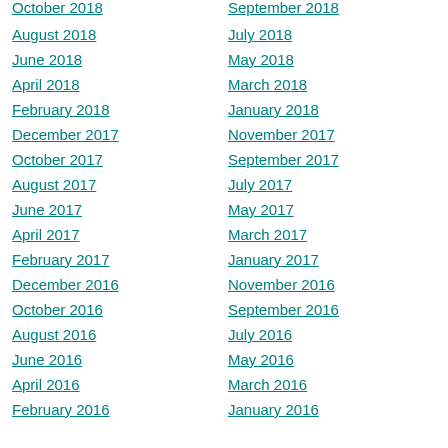October 2018
September 2018
August 2018
July 2018
June 2018
May 2018
April 2018
March 2018
February 2018
January 2018
December 2017
November 2017
October 2017
September 2017
August 2017
July 2017
June 2017
May 2017
April 2017
March 2017
February 2017
January 2017
December 2016
November 2016
October 2016
September 2016
August 2016
July 2016
June 2016
May 2016
April 2016
March 2016
February 2016
January 2016